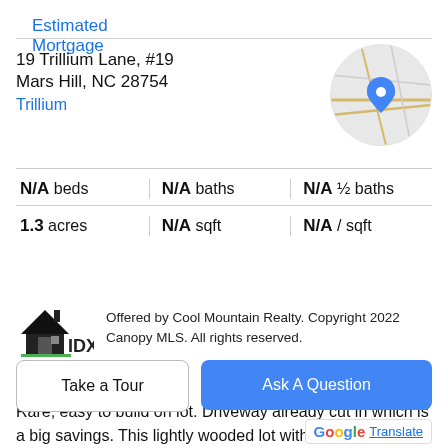Estimated Mortgage
19 Trillium Lane, #19
Mars Hill, NC 28754
Trillium
[Figure (map): Circular map thumbnail showing a location pin on a street map]
| N/A beds | N/A baths | N/A ½ baths |
| 1.3 acres | N/A sqft | N/A / sqft |
[Figure (logo): IDX logo with house icon]
Offered by Cool Mountain Realty. Copyright 2022 Canopy MLS. All rights reserved.
Property Description
Rare, easy to build on lot. Driveway already cut in which is a big savings. This lightly wooded lot with gently slope is perfect for a primary or second home. Very close to paved
Take a Tour
Ask A Question